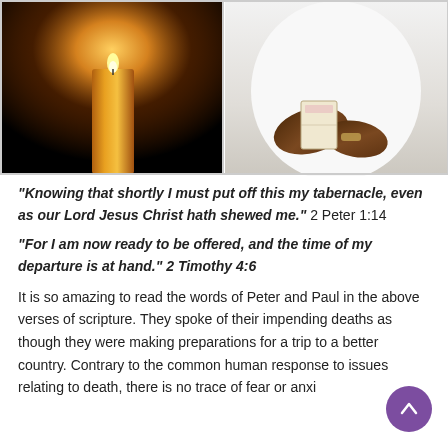[Figure (photo): Two photos side by side: left shows a lit candle against a dark background; right shows a person in white clothing holding a small book or pamphlet.]
“Knowing that shortly I must put off this my tabernacle, even as our Lord Jesus Christ hath shewed me.” 2 Peter 1:14
“For I am now ready to be offered, and the time of my departure is at hand.” 2 Timothy 4:6
It is so amazing to read the words of Peter and Paul in the above verses of scripture. They spoke of their impending deaths as though they were making preparations for a trip to a better country. Contrary to the common human response to issues relating to death, there is no trace of fear or anxi…